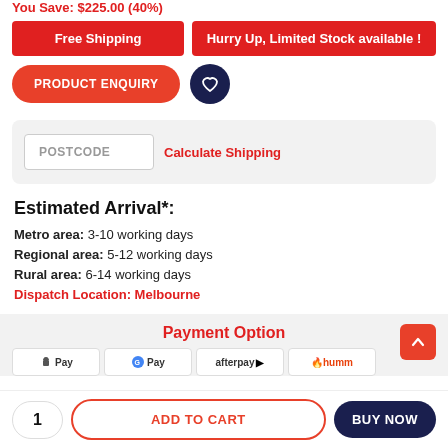You Save: $225.00 (40%)
Free Shipping
Hurry Up, Limited Stock available !
PRODUCT ENQUIRY
POSTCODE    Calculate Shipping
Estimated Arrival*:
Metro area: 3-10 working days
Regional area: 5-12 working days
Rural area: 6-14 working days
Dispatch Location: Melbourne
Payment Option
Apple Pay   Google Pay   afterpay   Humm
1   ADD TO CART   BUY NOW